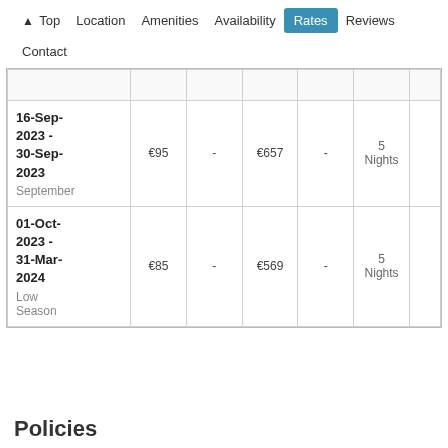↑ Top  Location  Amenities  Availability  Rates  Reviews  Contact
| Date Range | Per Night |  | Weekly |  | Min Stay |
| --- | --- | --- | --- | --- | --- |
| 16-Sep-2023 - 30-Sep-2023
September | €95 | - | €657 | - | 5 Nights |
| 01-Oct-2023 - 31-Mar-2024
Low Season | €85 | - | €569 | - | 5 Nights |
Policies